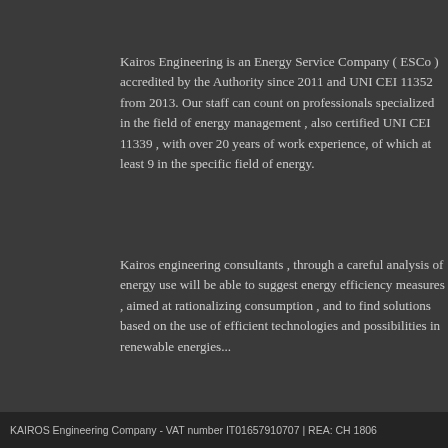Kairos Engineering is an Energy Service Company ( ESCo ) accredited by the Authority since 2011 and UNI CEI 11352 from 2013. Our staff can count on professionals specialized in the field of energy management , also certified UNI CEI 11339 , with over 20 years of work experience, of which at least 9 in the specific field of energy.
Kairos engineering consultants , through a careful analysis of energy use will be able to suggest energy efficiency measures , aimed at rationalizing consumption , and to find solutions based on the use of efficient technologies and possibilities in renewable energies...
[ Read more ]
By continuing to use this site you consent to the use of cookies on your device as described in our cookie policy unless you have disabled them. You can change your cookie settings at any time, but parts of our site will not function correctly without the×.
KAIROS Engineering Company - VAT number IT01657910707 | REA: CH 1806